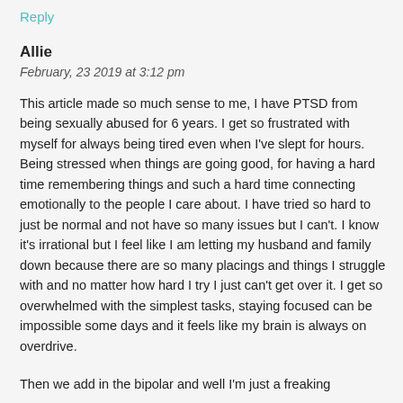Reply
Allie
February, 23 2019 at 3:12 pm
This article made so much sense to me, I have PTSD from being sexually abused for 6 years. I get so frustrated with myself for always being tired even when I've slept for hours. Being stressed when things are going good, for having a hard time remembering things and such a hard time connecting emotionally to the people I care about. I have tried so hard to just be normal and not have so many issues but I can't. I know it's irrational but I feel like I am letting my husband and family down because there are so many placings and things I struggle with and no matter how hard I try I just can't get over it. I get so overwhelmed with the simplest tasks, staying focused can be impossible some days and it feels like my brain is always on overdrive.
Then we add in the bipolar and well I'm just a freaking